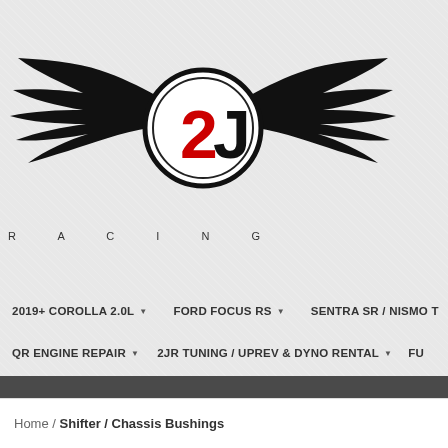[Figure (logo): 2J Racing logo with wings and circular badge]
R A C I N G
2019+ COROLLA 2.0L ▼
FORD FOCUS RS ▼
SENTRA SR / NISMO T ▼
QR ENGINE REPAIR ▼
2JR TUNING / UPREV & DYNO RENTAL ▼
FU...
SHIFTER / CHASSIS BUSHINGS ▼
LIGHTWEIGHT PULLEYS ▼
CLU...
INJECTORS / FUEL PUMPS ▼
COLD AIR INTAKE / PLENUM ▼
HEAD...
COILOVERS / SPRINGS / CHASSIS ▼
SPACERS / BRAKES / STUDS / BI...
2J SWAG / DRESS UP AND GAUGES / PODS ▼
2J HAT/SHIRT ▼
GAS...
GIFT CERTIFICATES ▼
Home / Shifter / Chassis Bushings